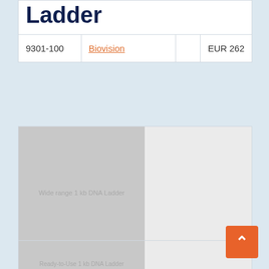Ladder
| Cat# | Supplier |  | Price |
| --- | --- | --- | --- |
| 9301-100 | Biovision |  | EUR 262 |
[Figure (photo): Placeholder image for Wide range 1 kb DNA Ladder product]
Wide range 1 kb DNA Ladder
| Cat# | Supplier |  | Price |
| --- | --- | --- | --- |
| M1191-500 | Biovision |  | EUR 278 |
[Figure (photo): Placeholder image for Ready-to-Use 1 kb DNA Ladder product]